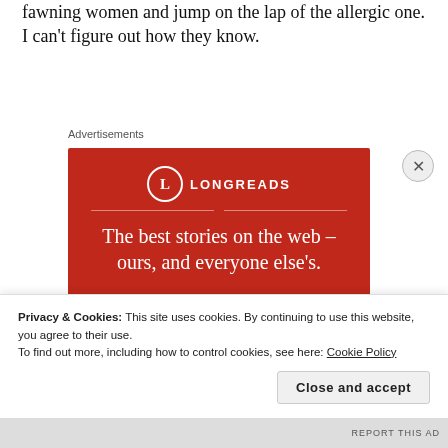fawning women and jump on the lap of the allergic one. I can't figure out how they know.
Advertisements
[Figure (infographic): Longreads advertisement banner with red background, circular L logo, headline 'The best stories on the web – ours, and everyone else's.' and a 'Start reading' button]
Privacy & Cookies: This site uses cookies. By continuing to use this website, you agree to their use.
To find out more, including how to control cookies, see here: Cookie Policy
Close and accept